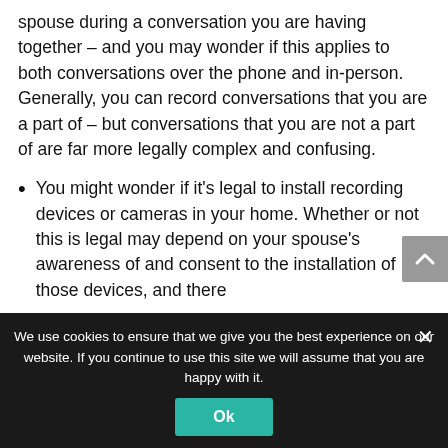spouse during a conversation you are having together – and you may wonder if this applies to both conversations over the phone and in-person. Generally, you can record conversations that you are a part of – but conversations that you are not a part of are far more legally complex and confusing.
You might wonder if it's legal to install recording devices or cameras in your home. Whether or not this is legal may depend on your spouse's awareness of and consent to the installation of those devices, and there
We use cookies to ensure that we give you the best experience on our website. If you continue to use this site we will assume that you are happy with it.